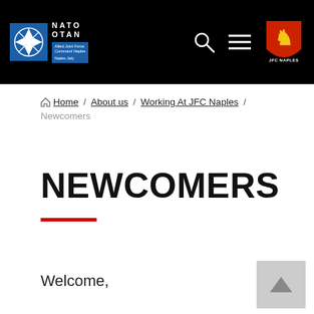NATO OTAN Allied Joint Force Command Naples — JFC NAPLES
Home / About us / Working At JFC Naples / Newcomers
NEWCOMERS
Welcome,